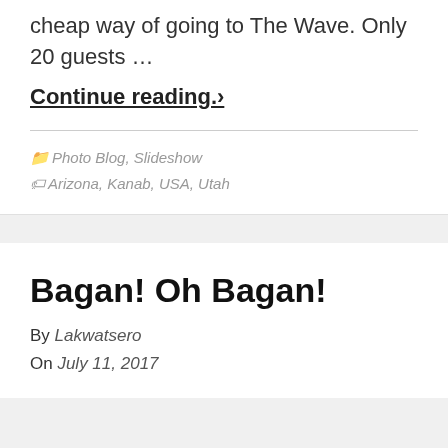cheap way of going to The Wave. Only 20 guests …
Continue reading.›
📁 Photo Blog, Slideshow
🏷 Arizona, Kanab, USA, Utah
Bagan! Oh Bagan!
By Lakwatsero
On July 11, 2017